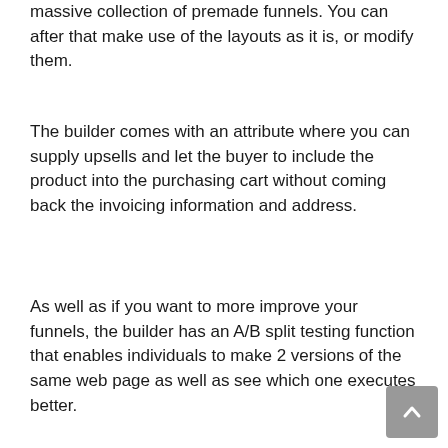massive collection of premade funnels. You can after that make use of the layouts as it is, or modify them.
The builder comes with an attribute where you can supply upsells and let the buyer to include the product into the purchasing cart without coming back the invoicing information and address.
As well as if you want to more improve your funnels, the builder has an A/B split testing function that enables individuals to make 2 versions of the same web page as well as see which one executes better.